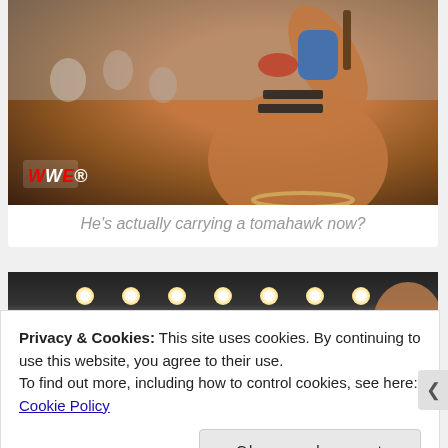[Figure (photo): WWE wrestler holding a tomahawk, wearing face paint (black stripes), blue arm sleeve, and a bead necklace, gesturing to a crowd in an arena. WWE logo visible in lower left of image.]
He's actually carrying a tomahawk now?
[Figure (photo): Partially visible arena photo showing stage lights against a dark background.]
Privacy & Cookies: This site uses cookies. By continuing to use this website, you agree to their use.
To find out more, including how to control cookies, see here: Cookie Policy
Close and accept